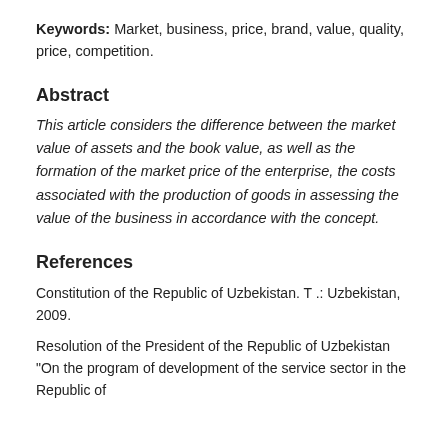Keywords: Market, business, price, brand, value, quality, price, competition.
Abstract
This article considers the difference between the market value of assets and the book value, as well as the formation of the market price of the enterprise, the costs associated with the production of goods in assessing the value of the business in accordance with the concept.
References
Constitution of the Republic of Uzbekistan. T .: Uzbekistan, 2009.
Resolution of the President of the Republic of Uzbekistan "On the program of development of the service sector in the Republic of